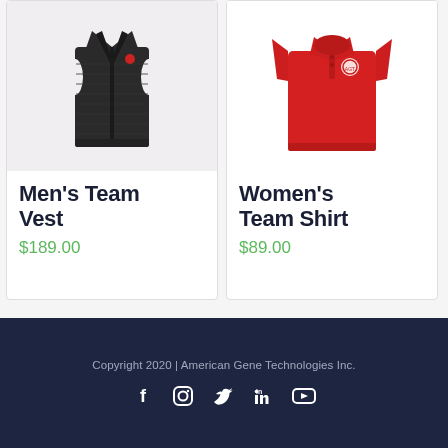[Figure (photo): Black quilted men's team vest on light background]
Men’s Team Vest
$189.00
[Figure (photo): Red women's team polo shirt on white background]
Women’s Team Shirt
$89.00
Copyright 2020 | American Gene Technologies Inc.